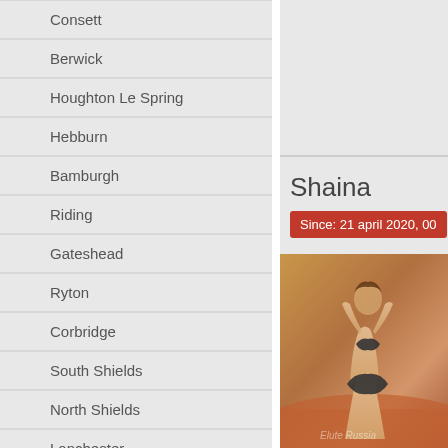Consett
Berwick
Houghton Le Spring
Hebburn
Bamburgh
Riding
Gateshead
Ryton
Corbridge
South Shields
North Shields
Lanchester
Winston
Bedlington
Shaina
Since: 21 april 2020, 00
[Figure (photo): Photo of a person on a bed, viewed from behind, wearing dark swimwear/underwear against an orange/warm-toned background]